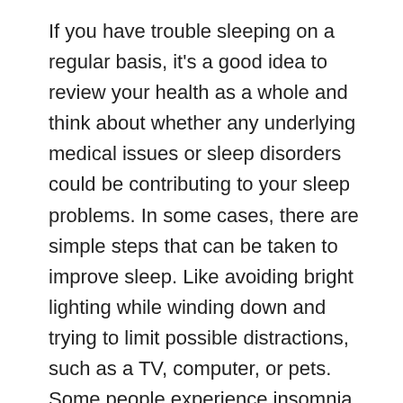If you have trouble sleeping on a regular basis, it's a good idea to review your health as a whole and think about whether any underlying medical issues or sleep disorders could be contributing to your sleep problems. In some cases, there are simple steps that can be taken to improve sleep. Like avoiding bright lighting while winding down and trying to limit possible distractions, such as a TV, computer, or pets. Some people experience insomnia when light levels in the bedroom are too high, especially during the period of the full moon. In that case installing black out blinds can help. You should not simply accept poor sleep as a way of life.